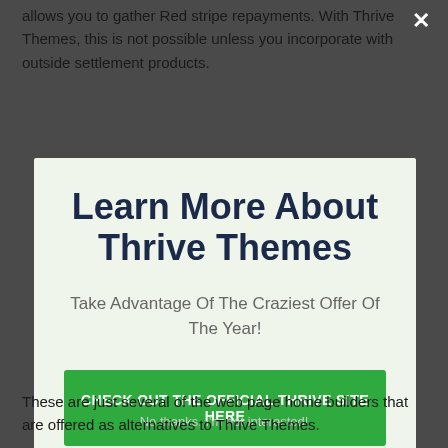allows you to gather Red stripe repayments. With Thrive Themes, this is not possible unless you incorporate with outside settlement products.
Learn More About Thrive Themes
Take Advantage Of The Craziest Offer Of The Year!
CHECK OUT THE OFFICIAL THRIVE SITE HERE
No thanks, I'm not interested!
These are just several of the web page home builders that are offered as alternatives to Thrive Themes.